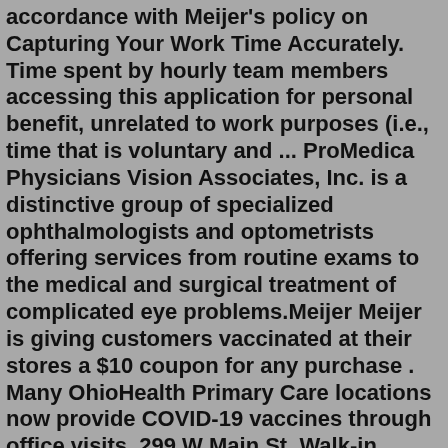accordance with Meijer's policy on Capturing Your Work Time Accurately. Time spent by hourly team members accessing this application for personal benefit, unrelated to work purposes (i.e., time that is voluntary and ... ProMedica Physicians Vision Associates, Inc. is a distinctive group of specialized ophthalmologists and optometrists offering services from routine exams to the medical and surgical treatment of complicated eye problems.Meijer Meijer is giving customers vaccinated at their stores a $10 coupon for any purchase . Many OhioHealth Primary Care locations now provide COVID-19 vaccines through office visits. 299 W Main St. Walk-in hours: Tuesdays and Wednesdays, 7:30 AM-3:30 PM.GRAND RAPIDS, Mich., Jan. 31, 2022 /PRNewswire/ -- Meijer announced today it will be the first retailer to offer at-home COVID-19 PCR tests free of charge to customers at its 254 pharmacies throughout the Midwest. The new program will be managed through a partnership with eTrueNorth, a